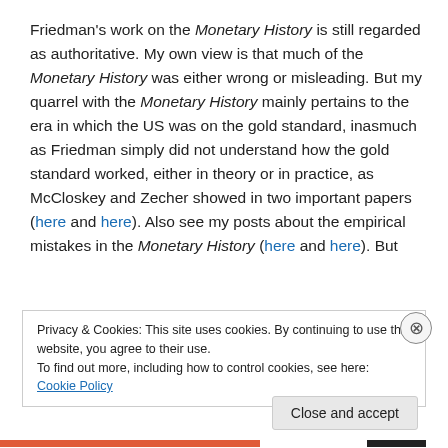Friedman's work on the Monetary History is still regarded as authoritative. My own view is that much of the Monetary History was either wrong or misleading. But my quarrel with the Monetary History mainly pertains to the era in which the US was on the gold standard, inasmuch as Friedman simply did not understand how the gold standard worked, either in theory or in practice, as McCloskey and Zecher showed in two important papers (here and here). Also see my posts about the empirical mistakes in the Monetary History (here and here). But
Privacy & Cookies: This site uses cookies. By continuing to use this website, you agree to their use. To find out more, including how to control cookies, see here: Cookie Policy